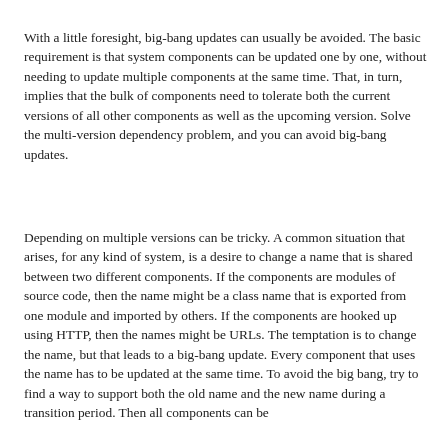With a little foresight, big-bang updates can usually be avoided. The basic requirement is that system components can be updated one by one, without needing to update multiple components at the same time. That, in turn, implies that the bulk of components need to tolerate both the current versions of all other components as well as the upcoming version. Solve the multi-version dependency problem, and you can avoid big-bang updates.
Depending on multiple versions can be tricky. A common situation that arises, for any kind of system, is a desire to change a name that is shared between two different components. If the components are modules of source code, then the name might be a class name that is exported from one module and imported by others. If the components are hooked up using HTTP, then the names might be URLs. The temptation is to change the name, but that leads to a big-bang update. Every component that uses the name has to be updated at the same time. To avoid the big bang, try to find a way to support both the old name and the new name during a transition period. Then all components can be